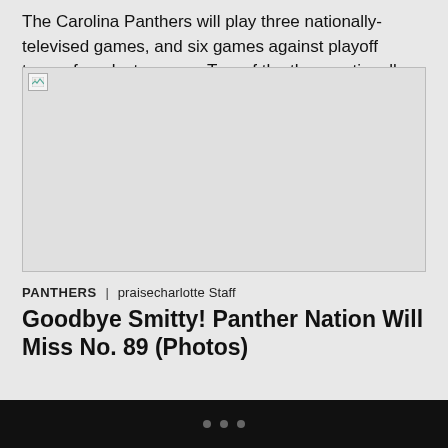The Carolina Panthers will play three nationally-televised games, and six games against playoff teams from last season. Two of the three nationally televised games will…
[Figure (photo): Broken/unloaded image placeholder]
PANTHERS | praisecharlotte Staff
Goodbye Smitty! Panther Nation Will Miss No. 89 (Photos)
• • •